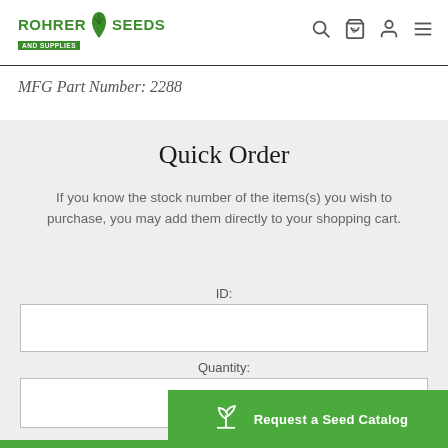Rohrer Seeds - MFG Part Number: 2288
MFG Part Number: 2288
Quick Order
If you know the stock number of the items(s) you wish to purchase, you may add them directly to your shopping cart.
ID:
Quantity:
Request a Seed Catalog